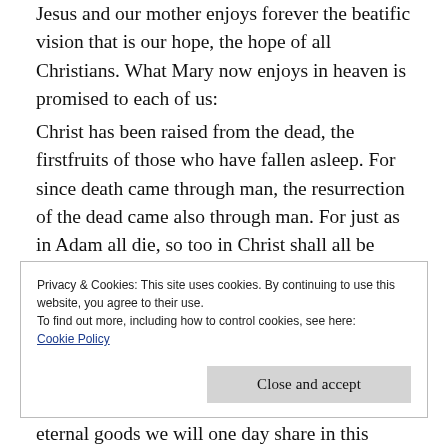Jesus and our mother enjoys forever the beatific vision that is our hope, the hope of all Christians. What Mary now enjoys in heaven is promised to each of us:
Christ has been raised from the dead, the firstfruits of those who have fallen asleep. For since death came through man, the resurrection of the dead came also through man. For just as in Adam all die, so too in Christ shall all be brought to life, but each one in proper order: Christ the firstfruits; then, at his coming, those who belong to Christ.” (Colossians 15:20–23)
Privacy & Cookies: This site uses cookies. By continuing to use this website, you agree to their use.
To find out more, including how to control cookies, see here:
Cookie Policy
Close and accept
eternal goods we will one day share in this same glory